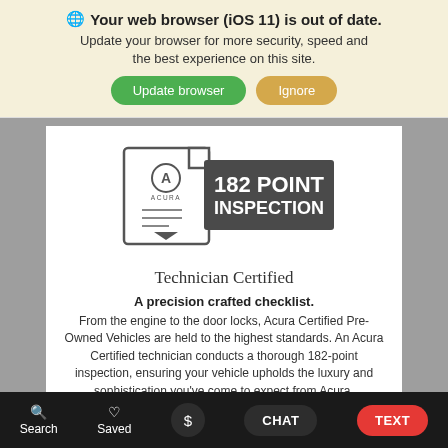🌐 Your web browser (iOS 11) is out of date. Update your browser for more security, speed and the best experience on this site.
Update browser | Ignore
[Figure (logo): Acura 182 Point Inspection badge — a document icon with Acura logo on the left, dark grey rectangle on the right with text '182 POINT INSPECTION' in white, and a downward arrow at the bottom]
Technician Certified
A precision crafted checklist. From the engine to the door locks, Acura Certified Pre-Owned Vehicles are held to the highest standards. An Acura Certified technician conducts a thorough 182-point inspection, ensuring your vehicle upholds the luxury and sophistication you've come to expect from Acura.
Search  Saved  CHAT  TEXT